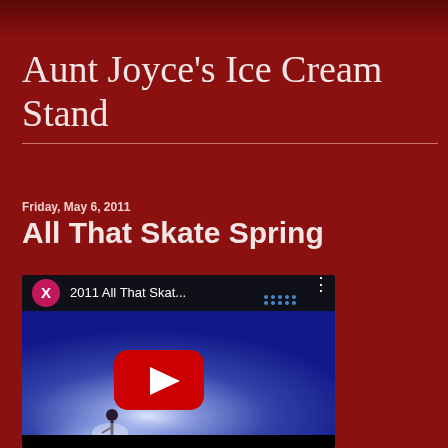Aunt Joyce's Ice Cream Stand
Friday, May 6, 2011
All That Skate Spring
[Figure (screenshot): YouTube video embed thumbnail showing '2011 All That Skat...' with a figure skater on ice, a red YouTube play button in the center, and a pink/magenta X logo circle in the header bar.]